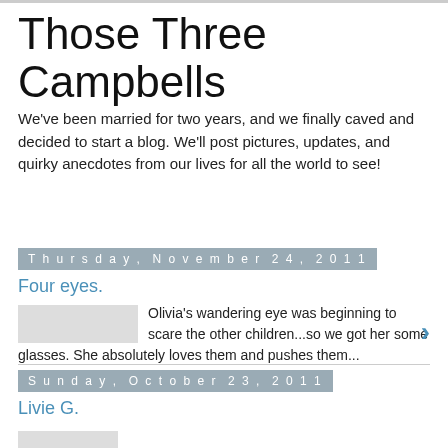Those Three Campbells
We've been married for two years, and we finally caved and decided to start a blog. We'll post pictures, updates, and quirky anecdotes from our lives for all the world to see!
Thursday, November 24, 2011
Four eyes.
Olivia's wandering eye was beginning to scare the other children...so we got her some glasses. She absolutely loves them and pushes them...
10 comments:
Sunday, October 23, 2011
Livie G.
6 comments: